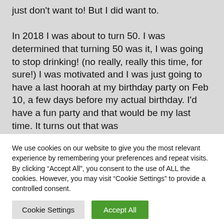just don't want to! But I did want to. In 2018 I was about to turn 50. I was determined that turning 50 was it, I was going to stop drinking! (no really, really this time, for sure!) I was motivated and I was just going to have a last hoorah at my birthday party on Feb 10, a few days before my actual birthday. I'd have a fun party and that would be my last time. It turns out that was
We use cookies on our website to give you the most relevant experience by remembering your preferences and repeat visits. By clicking "Accept All", you consent to the use of ALL the cookies. However, you may visit "Cookie Settings" to provide a controlled consent.